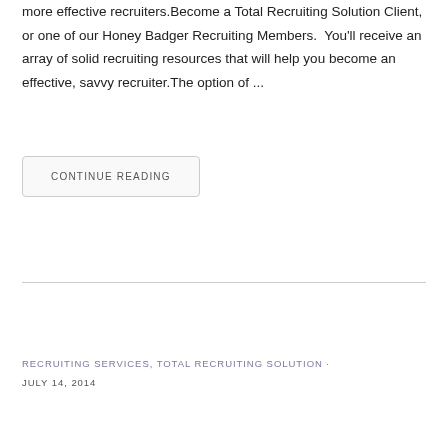more effective recruiters.Become a Total Recruiting Solution Client, or one of our Honey Badger Recruiting Members.  You'll receive an array of solid recruiting resources that will help you become an effective, savvy recruiter.The option of ...
CONTINUE READING
RECRUITING SERVICES, TOTAL RECRUITING SOLUTION · JULY 14, 2014